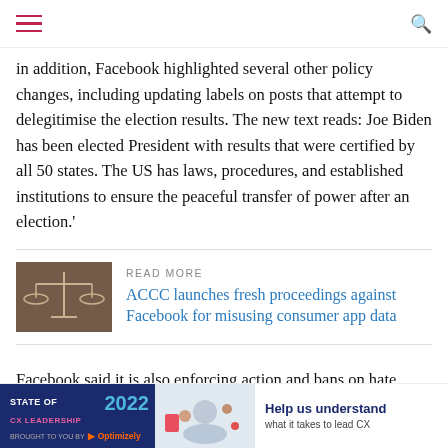[hamburger menu icon] [search icon]
in addition, Facebook highlighted several other policy changes, including updating labels on posts that attempt to delegitimise the election results. The new text reads: Joe Biden has been elected President with results that were certified by all 50 states. The US has laws, procedures, and established institutions to ensure the peaceful transfer of power after an election.'
READ MORE
ACCC launches fresh proceedings against Facebook for misusing consumer app data
[Figure (photo): Sepia-toned photo of scales of justice balanced on a surface]
Facebook said it is also enforcing action and bans on hate groups, including the Proud Boys, and has removed more than 600 militarised social movements from the platform.
Despite delays to the process caused by the shocking violence yesterday, US Congress has now officially ratified the results of the US e... Preside...
[Figure (infographic): Advertisement banner: STATE OF CX LEADERSHIP 2022 by Optimizely — Help us understand what it takes to lead CX]